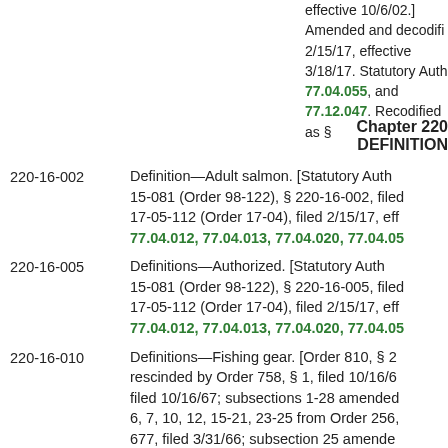effective 10/6/02.] Amended and decodifi 2/15/17, effective 3/18/17. Statutory Auth 77.04.055, and 77.12.047. Recodified as §
Chapter 220
DEFINITION
220-16-002   Definition—Adult salmon. [Statutory Auth 15-081 (Order 98-122), § 220-16-002, filed 17-05-112 (Order 17-04), filed 2/15/17, eff 77.04.012, 77.04.013, 77.04.020, 77.04.05
220-16-005   Definitions—Authorized. [Statutory Auth 15-081 (Order 98-122), § 220-16-005, filed 17-05-112 (Order 17-04), filed 2/15/17, eff 77.04.012, 77.04.013, 77.04.020, 77.04.05
220-16-010   Definitions—Fishing gear. [Order 810, § 2 rescinded by Order 758, § 1, filed 10/16/6 filed 10/16/67; subsections 1-28 amended 6, 7, 10, 12, 15-21, 23-25 from Order 256, 677, filed 3/31/66; subsection 25 amende and 9 from Order 569, filed 4/11/63; Orde amended by Order 635, filed 3/31/65; sub